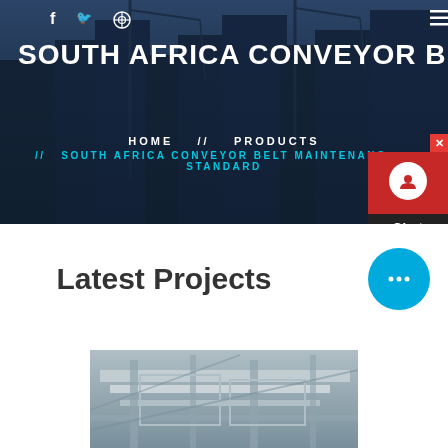SOUTH AFRICA CONVEYOR BELT
HOME // PRODUCTS // SOUTH AFRICA CONVEYOR BELT MAINTENANCE STANDARD
Latest Projects
[Figure (photo): Industrial construction site with conveyor belt machinery and scaffolding inside a large building.]